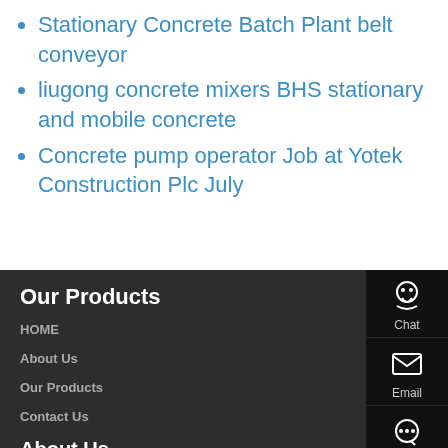Stationary Concrete Batch Plant belt conveyor
liugong concrete mixers BHS stationary and mobile concrete
Concrete pump operator Job at Yotek Construction Plc July
Our Products
HOME
About Us
Our Products
Contact Us
About Us
Founded in 2017, Talenet Group is located in Zhengzhou City, Henan Province, which is known as the "heart of